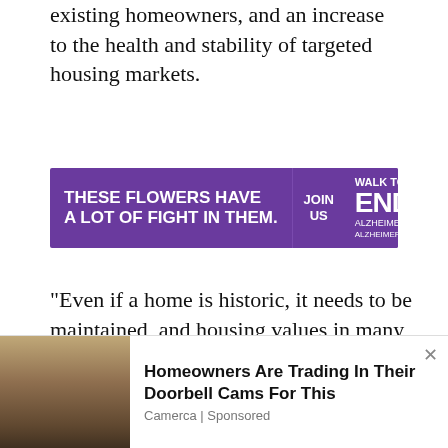existing homeowners, and an increase to the health and stability of targeted housing markets.
[Figure (infographic): Purple banner ad: 'These flowers have a lot of fight in them.' Walk to END Alzheimer's. Join Us button.]
“Even if a home is historic, it needs to be maintained, and housing values in many older historic neighborhoods are declining due to aging and the prevalence of vacant and deteriorated housing stock, and the cost to restore or build new housing,” said Secretary
[Figure (infographic): Bottom ad: Homeowners Are Trading In Their Doorbell Cams For This. Camerca | Sponsored.]